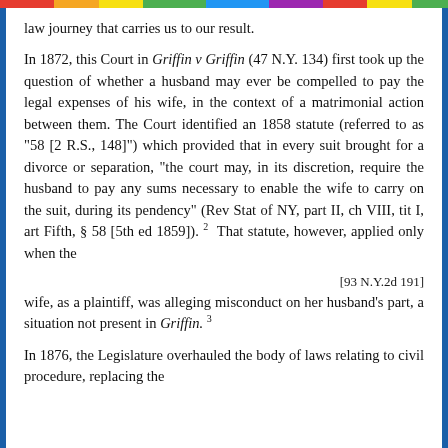law journey that carries us to our result.
In 1872, this Court in Griffin v Griffin (47 N.Y. 134) first took up the question of whether a husband may ever be compelled to pay the legal expenses of his wife, in the context of a matrimonial action between them. The Court identified an 1858 statute (referred to as "58 [2 R.S., 148]") which provided that in every suit brought for a divorce or separation, "the court may, in its discretion, require the husband to pay any sums necessary to enable the wife to carry on the suit, during its pendency" (Rev Stat of NY, part II, ch VIII, tit I, art Fifth, § 58 [5th ed 1859]). 2 That statute, however, applied only when the
[93 N.Y.2d 191]
wife, as a plaintiff, was alleging misconduct on her husband's part, a situation not present in Griffin. 3
In 1876, the Legislature overhauled the body of laws relating to civil procedure, replacing the